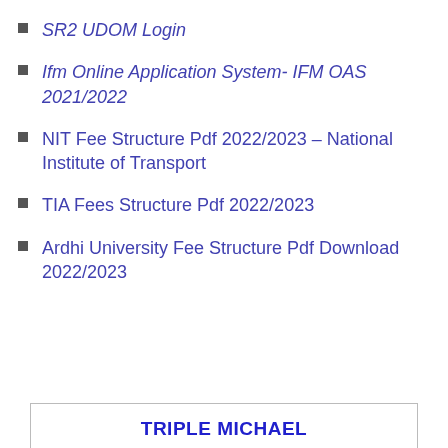SR2 UDOM Login
Ifm Online Application System- IFM OAS 2021/2022
NIT Fee Structure Pdf 2022/2023 – National Institute of Transport
TIA Fees Structure Pdf 2022/2023
Ardhi University Fee Structure Pdf Download 2022/2023
TRIPLE MICHAEL